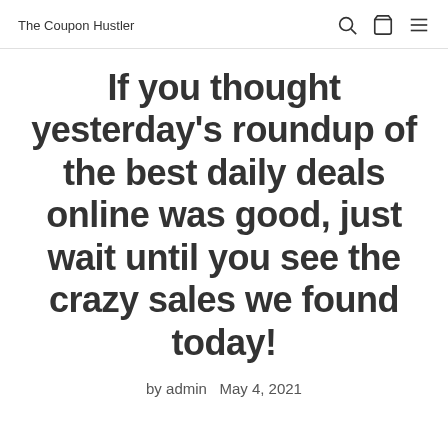The Coupon Hustler
If you thought yesterday's roundup of the best daily deals online was good, just wait until you see the crazy sales we found today!
by admin   May 4, 2021